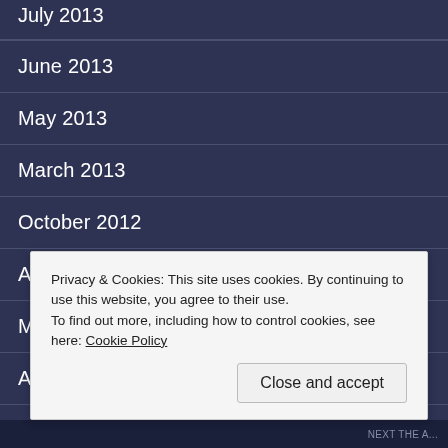July 2013
June 2013
May 2013
March 2013
October 2012
August 2012
May 2012
April 2012
January 2012
Privacy & Cookies: This site uses cookies. By continuing to use this website, you agree to their use. To find out more, including how to control cookies, see here: Cookie Policy
NEXT THE A...